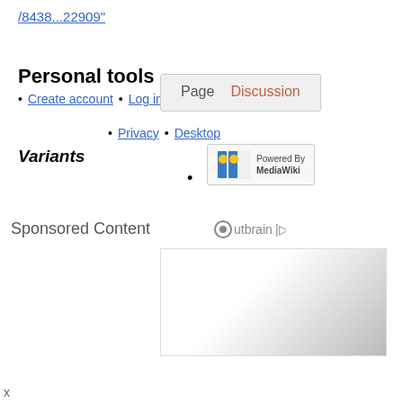/8438...22909"
Personal tools
Create account • Log in
Page   Discussion
Privacy • Desktop
Variants
[Figure (logo): Powered By MediaWiki badge with sunflower icon]
Sponsored Content
[Figure (logo): Outbrain logo]
[Figure (photo): Advertisement image with gradient]
x